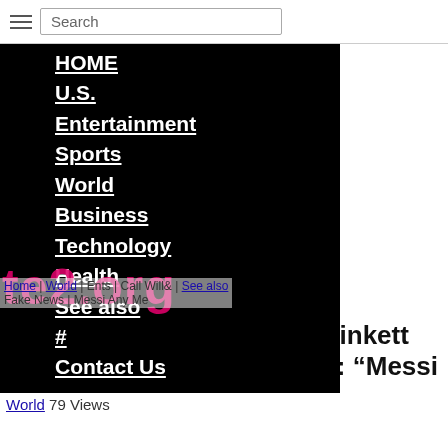Search
HOME
U.S.
Entertainment
Sports
World
Business
Technology
Health
See also
#
Contact Us
Home | World | Ents | Call Will & See also | Fake News | Messi Any Me
[Figure (other): Pink/magenta watermark logo text: te2.org overlaid on navigation menu]
Ellis Neil Call Will & Jada Pinkett Smith Report “Fake News”: “Messi Any Me”
World 79 Views
[Figure (photo): Partial view of a magazine cover showing large letters 'LLE' and 'A|A' in white on dark grey background, with what appears to be the top of a person's head visible at bottom right]